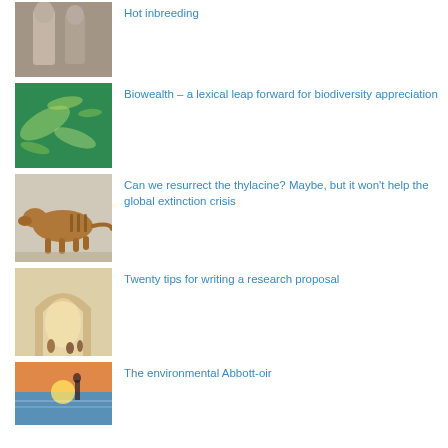Hot inbreeding
Biowealth – a lexical leap forward for biodiversity appreciation
Can we resurrect the thylacine? Maybe, but it won't help the global extinction crisis
Twenty tips for writing a research proposal
The environmental Abbott-oir